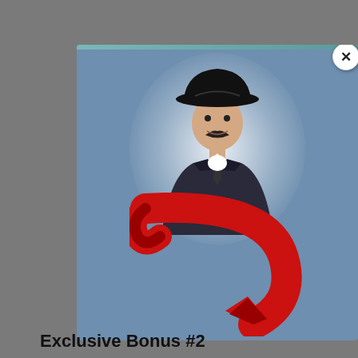[Figure (photo): A modal popup dialog with a blue-gray background showing a man wearing a black cowboy hat and dark suit jacket with a white shirt and tie, smiling. There is a large red curving arrow pointing downward overlaid on the lower portion of the image. A white close button with an X is in the upper right corner of the modal. A thin teal/green bar runs along the top of the modal.]
Exclusive Bonus #2